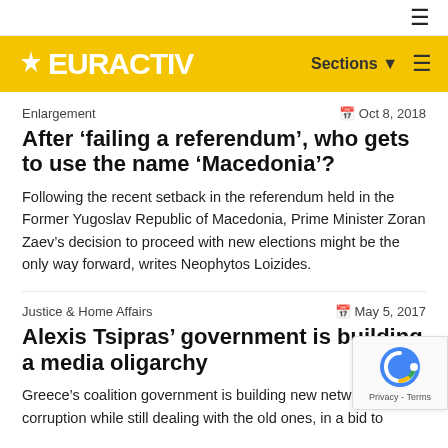[Figure (logo): EURACTIV logo on yellow background bar with Sections navigation]
Enlargement
Oct 8, 2018
After ‘failing a referendum’, who gets to use the name ‘Macedonia’?
Following the recent setback in the referendum held in the Former Yugoslav Republic of Macedonia, Prime Minister Zoran Zaev’s decision to proceed with new elections might be the only way forward, writes Neophytos Loizides.
Justice & Home Affairs
May 5, 2017
Alexis Tsipras’ government is building a media oligarchy
Greece’s coalition government is building new networks of corruption while still dealing with the old ones, in a bid to